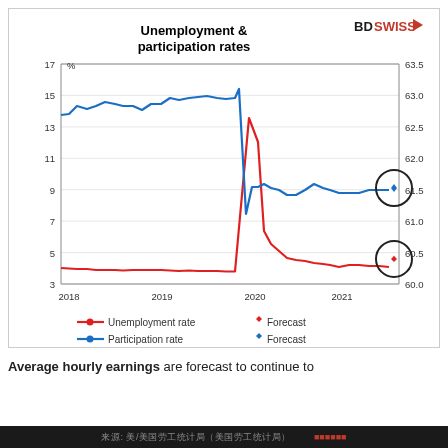[Figure (line-chart): Unemployment & participation rates]
Average hourly earnings are forecast to continue to
来源: 美/美国劳工统计局（美国劳工统计局）  BDSWISS